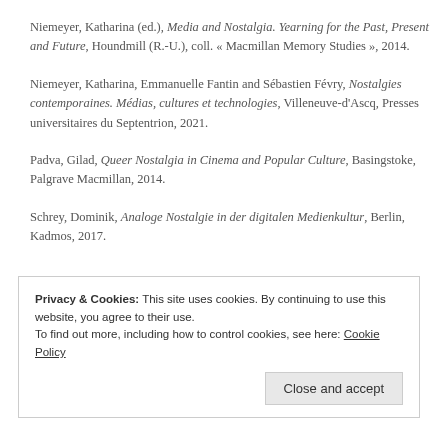Niemeyer, Katharina (ed.), Media and Nostalgia. Yearning for the Past, Present and Future, Houndmill (R.-U.), coll. « Macmillan Memory Studies », 2014.
Niemeyer, Katharina, Emmanuelle Fantin and Sébastien Févry, Nostalgies contemporaines. Médias, cultures et technologies, Villeneuve-d'Ascq, Presses universitaires du Septentrion, 2021.
Padva, Gilad, Queer Nostalgia in Cinema and Popular Culture, Basingstoke, Palgrave Macmillan, 2014.
Schrey, Dominik, Analoge Nostalgie in der digitalen Medienkultur, Berlin, Kadmos, 2017.
Privacy & Cookies: This site uses cookies. By continuing to use this website, you agree to their use. To find out more, including how to control cookies, see here: Cookie Policy